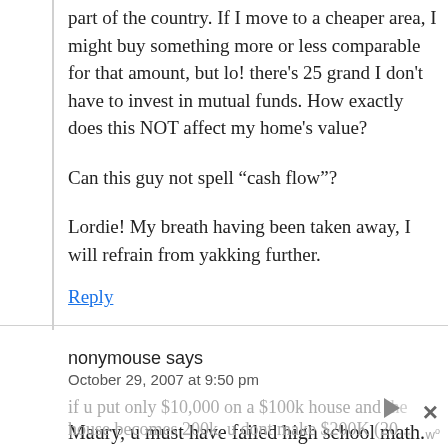part of the country. If I move to a cheaper area, I might buy something more or less comparable for that amount, but lo! there's 25 grand I don't have to invest in mutual funds. How exactly does this NOT affect my home's value?
Can this guy not spell “cash flow”?
Lordie! My breath having been taken away, I will refrain from yakking further.
Reply
nonymouse says
October 29, 2007 at 9:50 pm
Maury, u must have failed high school math.
if u put only $10,000 on a $100k house and the house becomes 200k, u dont make $200K (20...